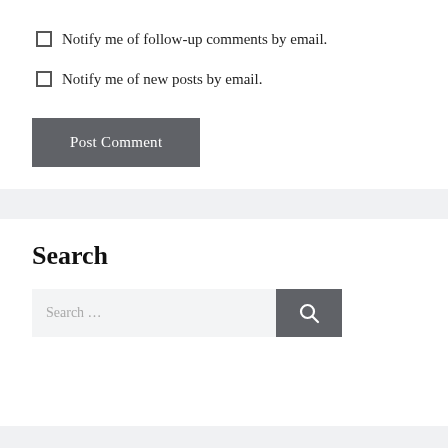Notify me of follow-up comments by email.
Notify me of new posts by email.
Post Comment
Search
Search …